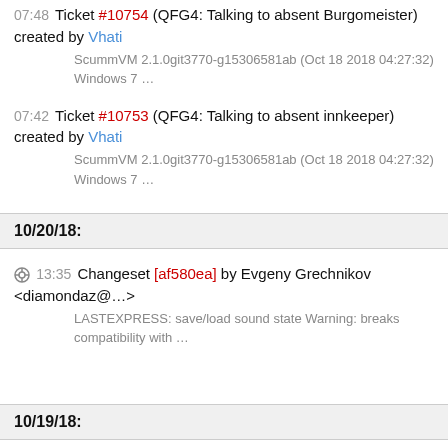07:48 Ticket #10754 (QFG4: Talking to absent Burgomeister) created by Vhati
ScummVM 2.1.0git3770-g15306581ab (Oct 18 2018 04:27:32) Windows 7 …
07:42 Ticket #10753 (QFG4: Talking to absent innkeeper) created by Vhati
ScummVM 2.1.0git3770-g15306581ab (Oct 18 2018 04:27:32) Windows 7 …
10/20/18:
13:35 Changeset [af580ea] by Evgeny Grechnikov <diamondaz@…>
LASTEXPRESS: save/load sound state Warning: breaks compatibility with …
10/19/18: